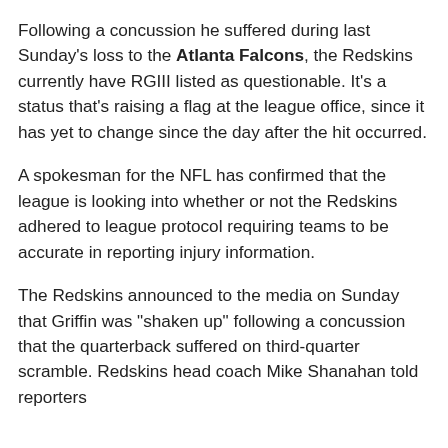Following a concussion he suffered during last Sunday's loss to the Atlanta Falcons, the Redskins currently have RGIII listed as questionable. It's a status that's raising a flag at the league office, since it has yet to change since the day after the hit occurred.
A spokesman for the NFL has confirmed that the league is looking into whether or not the Redskins adhered to league protocol requiring teams to be accurate in reporting injury information.
The Redskins announced to the media on Sunday that Griffin was "shaken up" following a concussion that the quarterback suffered on third-quarter scramble. Redskins head coach Mike Shanahan told reporters